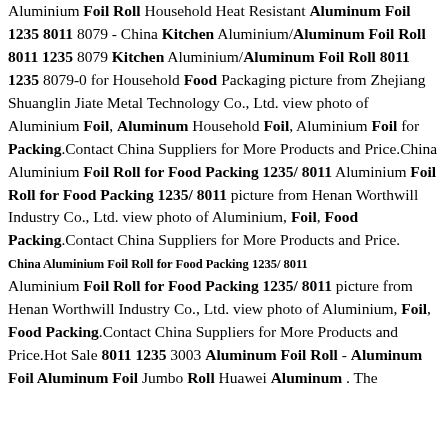Aluminium Foil Roll Household Heat Resistant Aluminum Foil 1235 8011 8079 - China Kitchen Aluminium/Aluminum Foil Roll 8011 1235 8079 Kitchen Aluminium/Aluminum Foil Roll 8011 1235 8079-0 for Household Food Packaging picture from Zhejiang Shuanglin Jiate Metal Technology Co., Ltd. view photo of Aluminium Foil, Aluminum Household Foil, Aluminium Foil for Packing.Contact China Suppliers for More Products and Price.China Aluminium Foil Roll for Food Packing 1235/ 8011 Aluminium Foil Roll for Food Packing 1235/ 8011 picture from Henan Worthwill Industry Co., Ltd. view photo of Aluminium, Foil, Food Packing.Contact China Suppliers for More Products and Price. China Aluminium Foil Roll for Food Packing 1235/ 8011 Aluminium Foil Roll for Food Packing 1235/ 8011 picture from Henan Worthwill Industry Co., Ltd. view photo of Aluminium, Foil, Food Packing.Contact China Suppliers for More Products and Price.Hot Sale 8011 1235 3003 Aluminum Foil Roll - Aluminum Foil Aluminum Foil Jumbo Roll Huawei Aluminum . The